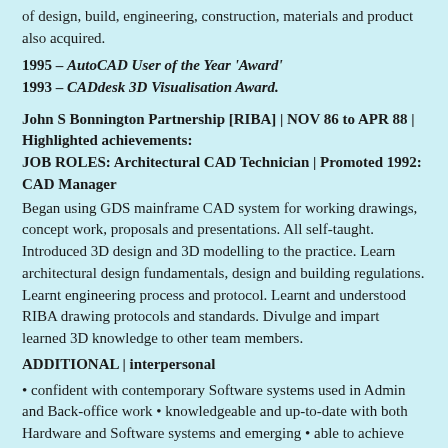of design, build, engineering, construction, materials and product also acquired.
1995 – AutoCAD User of the Year 'Award'
1993 – CADdesk 3D Visualisation Award.
John S Bonnington Partnership [RIBA] | NOV 86 to APR 88 | Highlighted achievements:
JOB ROLES: Architectural CAD Technician | Promoted 1992: CAD Manager
Began using GDS mainframe CAD system for working drawings, concept work, proposals and presentations. All self-taught. Introduced 3D design and 3D modelling to the practice. Learn architectural design fundamentals, design and building regulations. Learnt engineering process and protocol. Learnt and understood RIBA drawing protocols and standards. Divulge and impart learned 3D knowledge to other team members.
ADDITIONAL | interpersonal
• confident with contemporary Software systems used in Admin and Back-office work • knowledgeable and up-to-date with both Hardware and Software systems and emerging • able to achieve results with accuracy and precision • able communicate with credibility and confidence • excel in creative thinking and problem solving • able to